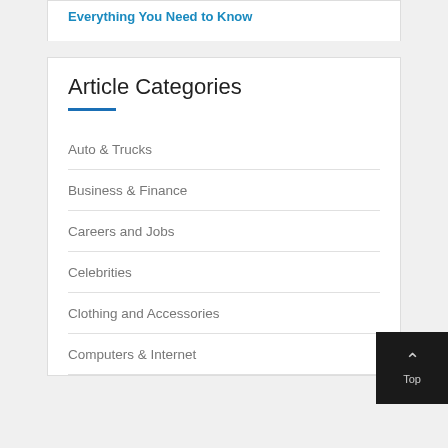Everything You Need to Know
Article Categories
Auto & Trucks
Business & Finance
Careers and Jobs
Celebrities
Clothing and Accessories
Computers & Internet